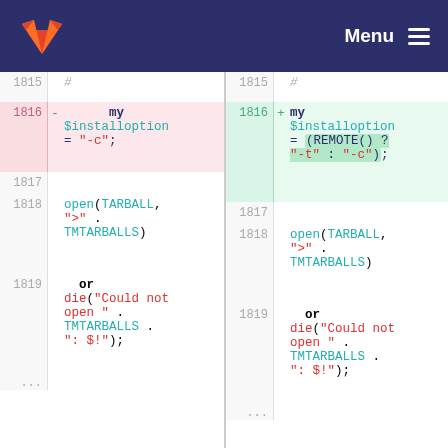GitLab Menu
[Figure (screenshot): GitLab code diff view showing lines 1815-1819 of a Perl file. Left side shows removed line 1816: my $installoption = "-c"; Right side shows added line 1816: my $installoption = (REMOTE() ? "-t" : "-c"); Both sides show identical context lines with open(TARBALL, ">" . TMTARBALLS) or die("Could not open " . TMTARBALLS . ": $!");]